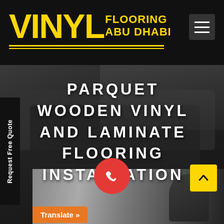[Figure (logo): Vinyl Flooring Abu Dhabi logo with yellow text on black background, hamburger menu icon top right]
[Figure (photo): Dark bedroom interior photo used as hero background]
PARQUET WOODEN VINYL AND LAMINATE FLOORING INSTALLATION
Request Free Quote
[Figure (photo): Bottom strip showing a person installing flooring]
Translate »